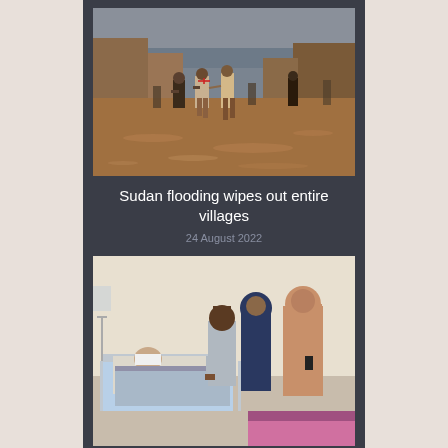[Figure (photo): People wading through floodwaters in Sudan, two relief workers holding hands in muddy brown floodwater, buildings visible in background under cloudy sky]
Sudan flooding wipes out entire villages
24 August 2022
[Figure (photo): Hospital scene with a patient lying in bed with bandages on face, surrounded by three visitors — a man in gray outfit and two women in hijabs]